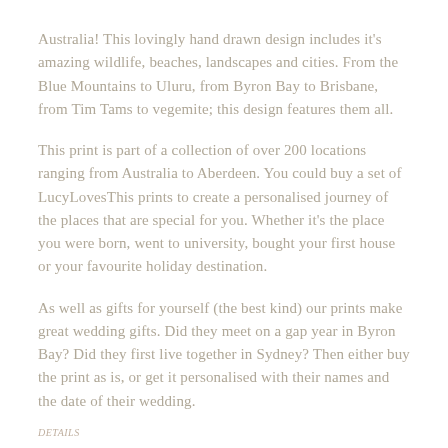Australia! This lovingly hand drawn design includes it's amazing wildlife, beaches, landscapes and cities. From the Blue Mountains to Uluru, from Byron Bay to Brisbane, from Tim Tams to vegemite; this design features them all.
This print is part of a collection of over 200 locations ranging from Australia to Aberdeen. You could buy a set of LucyLovesThis prints to create a personalised journey of the places that are special for you. Whether it's the place you were born, went to university, bought your first house or your favourite holiday destination.
As well as gifts for yourself (the best kind) our prints make great wedding gifts. Did they meet on a gap year in Byron Bay? Did they first live together in Sydney? Then either buy the print as is, or get it personalised with their names and the date of their wedding.
DETAILS